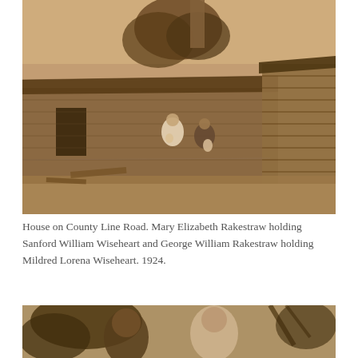[Figure (photo): Sepia-toned historical photograph of a wooden farmhouse with a tin/thatched roof and a barn or shed to the right. Two people are visible in the foreground: a woman in white dress holding a child, and a man holding another child.]
House on County Line Road. Mary Elizabeth Rakestraw holding Sanford William Wiseheart and George William Rakestraw holding Mildred Lorena Wiseheart. 1924.
[Figure (photo): Sepia-toned historical photograph showing two people partially visible among trees and foliage.]